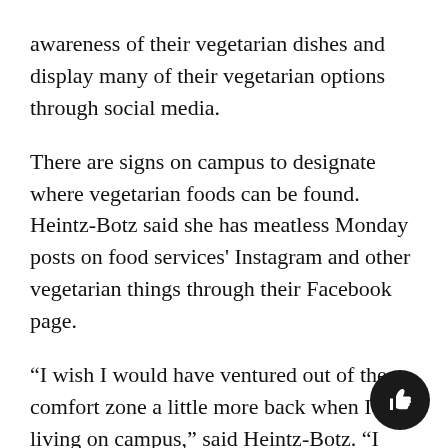awareness of their vegetarian dishes and display many of their vegetarian options through social media.
There are signs on campus to designate where vegetarian foods can be found. Heintz-Botz said she has meatless Monday posts on food services' Instagram and other vegetarian things through their Facebook page.
“I wish I would have ventured out of the comfort zone a little more back when I was living on campus,” said Heintz-Botz. “I could have discovered all these healthy vegetarian and vegan options years ago.”
Whitteker said it’s commonplace for vegetarian students to worry about where their meals are coming from on campus.